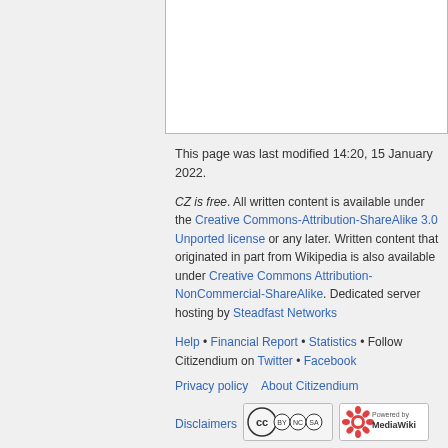This page was last modified 14:20, 15 January 2022.
CZ is free. All written content is available under the Creative Commons-Attribution-ShareAlike 3.0 Unported license or any later. Written content that originated in part from Wikipedia is also available under Creative Commons Attribution-NonCommercial-ShareAlike. Dedicated server hosting by Steadfast Networks
Help • Financial Report • Statistics • Follow Citizendium on Twitter • Facebook
Privacy policy   About Citizendium
Disclaimers